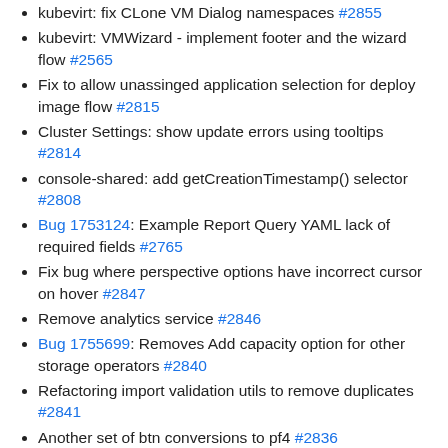kubevirt: fix CLone VM Dialog namespaces #2855
kubevirt: VMWizard - implement footer and the wizard flow #2565
Fix to allow unassinged application selection for deploy image flow #2815
Cluster Settings: show update errors using tooltips #2814
console-shared: add getCreationTimestamp() selector #2808
Bug 1753124: Example Report Query YAML lack of required fields #2765
Fix bug where perspective options have incorrect cursor on hover #2847
Remove analytics service #2846
Bug 1755699: Removes Add capacity option for other storage operators #2840
Refactoring import validation utils to remove duplicates #2841
Another set of btn conversions to pf4 #2836